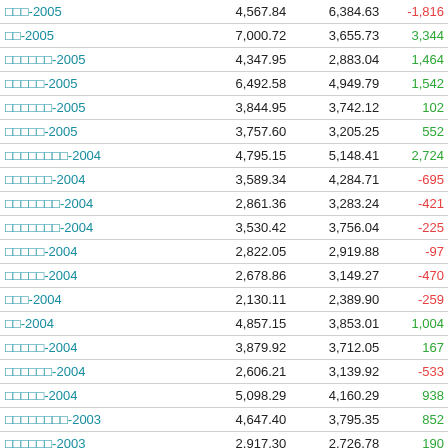| Name | Col1 | Col2 | Diff |
| --- | --- | --- | --- |
| □□□-2005 | 4,567.84 | 6,384.63 | -1,816 |
| □□-2005 | 7,000.72 | 3,655.73 | 3,344 |
| □□□□□□-2005 | 4,347.95 | 2,883.04 | 1,464 |
| □□□□□-2005 | 6,492.58 | 4,949.79 | 1,542 |
| □□□□□□-2005 | 3,844.95 | 3,742.12 | 102 |
| □□□□□-2005 | 3,757.60 | 3,205.25 | 552 |
| □□□□□□□□-2004 | 4,795.15 | 5,148.41 | 2,724 |
| □□□□□□-2004 | 3,589.34 | 4,284.71 | -695 |
| □□□□□□□-2004 | 2,861.36 | 3,283.24 | -421 |
| □□□□□□□-2004 | 3,530.42 | 3,756.04 | -225 |
| □□□□□-2004 | 2,822.05 | 2,919.88 | -97 |
| □□□□□-2004 | 2,678.86 | 3,149.27 | -470 |
| □□□-2004 | 2,130.11 | 2,389.90 | -259 |
| □□-2004 | 4,857.15 | 3,853.01 | 1,004 |
| □□□□□-2004 | 3,879.92 | 3,712.05 | 167 |
| □□□□□□-2004 | 2,606.21 | 3,139.92 | -533 |
| □□□□□-2004 | 5,098.29 | 4,160.29 | 938 |
| □□□□□□□□-2003 | 4,647.40 | 3,795.35 | 852 |
| □□□□□□-2003 | 2,917.30 | 2,726.78 | 190 |
| □□□□□□□-2003 | 3,362.30 | 3,557.14 | -194 |
| □□□□□□□□-2003 | 2,812.55 | 3,102.66 | -290 |
| □□□□□-2003 | 3,147.28 | 2,739.58 | 407 |
| □□□□□-2003 | 2,642.21 | 2,571.09 | 71 |
| □□□-2003 | 1,997.50 | 2,193.05 | -195 |